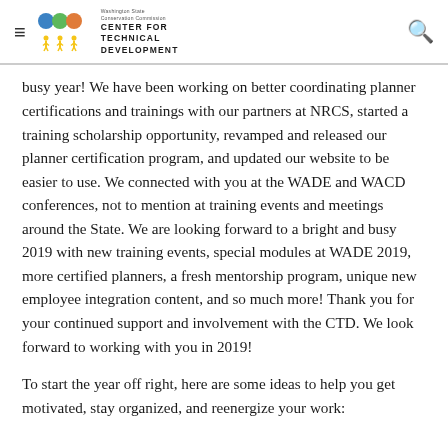Washington State Conservation Commission Center for Technical Development
busy year! We have been working on better coordinating planner certifications and trainings with our partners at NRCS, started a training scholarship opportunity, revamped and released our planner certification program, and updated our website to be easier to use. We connected with you at the WADE and WACD conferences, not to mention at training events and meetings around the State. We are looking forward to a bright and busy 2019 with new training events, special modules at WADE 2019, more certified planners, a fresh mentorship program, unique new employee integration content, and so much more! Thank you for your continued support and involvement with the CTD. We look forward to working with you in 2019!
To start the year off right, here are some ideas to help you get motivated, stay organized, and reenergize your work: